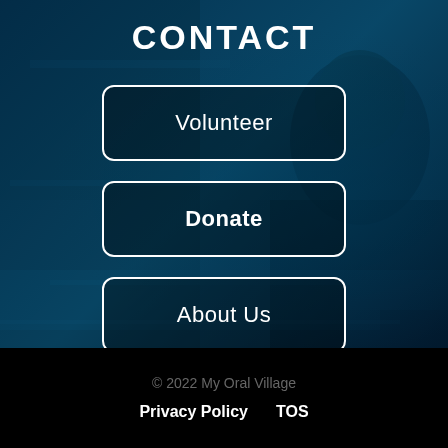CONTACT
Volunteer
Donate
About Us
© 2022 My Oral Village
Privacy Policy    TOS